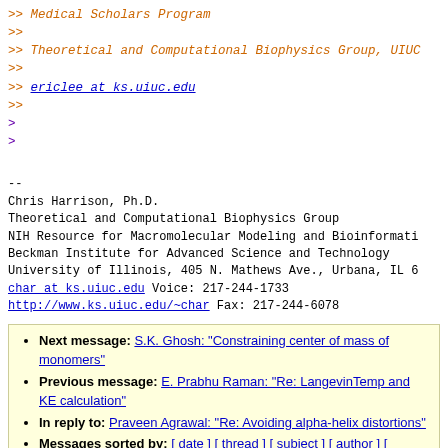>> Medical Scholars Program
>>
>> Theoretical and Computational Biophysics Group, UIUC
>>
>> ericlee at ks.uiuc.edu
>>
>
>
--
Chris Harrison, Ph.D.
Theoretical and Computational Biophysics Group
NIH Resource for Macromolecular Modeling and Bioinformatics
Beckman Institute for Advanced Science and Technology
University of Illinois, 405 N. Mathews Ave., Urbana, IL 6
char at ks.uiuc.edu Voice: 217-244-1733
http://www.ks.uiuc.edu/~char Fax: 217-244-6078
Next message: S.K. Ghosh: "Constraining center of mass of monomers"
Previous message: E. Prabhu Raman: "Re: LangevinTemp and KE calculation"
In reply to: Praveen Agrawal: "Re: Avoiding alpha-helix distortions"
Messages sorted by: [ date ] [ thread ] [ subject ] [ author ] [ attachment ]